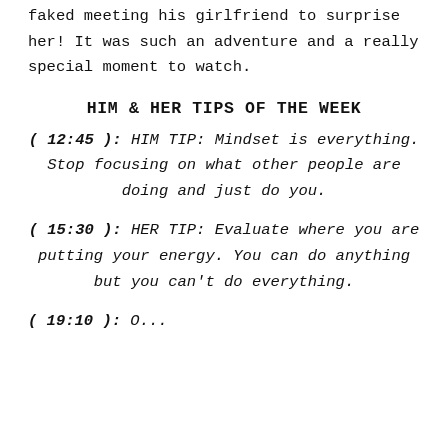faked meeting his girlfriend to surprise her! It was such an adventure and a really special moment to watch.
HIM & HER TIPS OF THE WEEK
( 12:45 ): HIM TIP: Mindset is everything. Stop focusing on what other people are doing and just do you.
( 15:30 ): HER TIP: Evaluate where you are putting your energy. You can do anything but you can't do everything.
( 19:10 ): ...